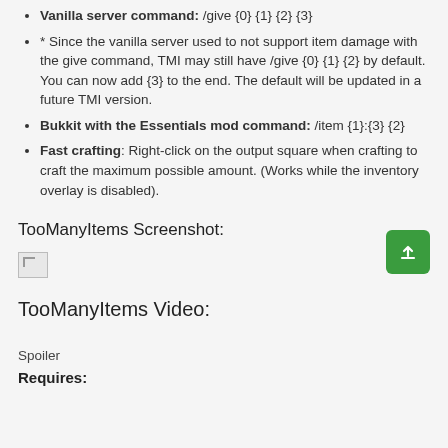Vanilla server command: /give {0} {1} {2} {3}
* Since the vanilla server used to not support item damage with the give command, TMI may still have /give {0} {1} {2} by default. You can now add {3} to the end. The default will be updated in a future TMI version.
Bukkit with the Essentials mod command: /item {1}:{3} {2}
Fast crafting: Right-click on the output square when crafting to craft the maximum possible amount. (Works while the inventory overlay is disabled).
TooManyItems Screenshot:
[Figure (photo): Broken image placeholder for TooManyItems screenshot]
TooManyItems Video:
Spoiler
Requires: